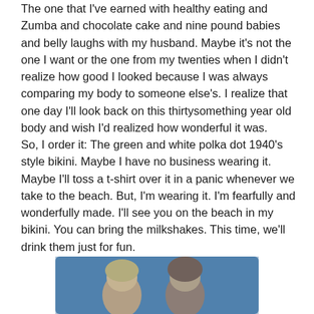The one that I've earned with healthy eating and Zumba and chocolate cake and nine pound babies and belly laughs with my husband. Maybe it's not the one I want or the one from my twenties when I didn't realize how good I looked because I was always comparing my body to someone else's. I realize that one day I'll look back on this thirtysomething year old body and wish I'd realized how wonderful it was.
So, I order it: The green and white polka dot 1940's style bikini. Maybe I have no business wearing it. Maybe I'll toss a t-shirt over it in a panic whenever we take to the beach. But, I'm wearing it. I'm fearfully and wonderfully made. I'll see you on the beach in my bikini. You can bring the milkshakes. This time, we'll drink them just for fun.
[Figure (photo): Partial photo of two people visible at the bottom of the page, with a blue background]